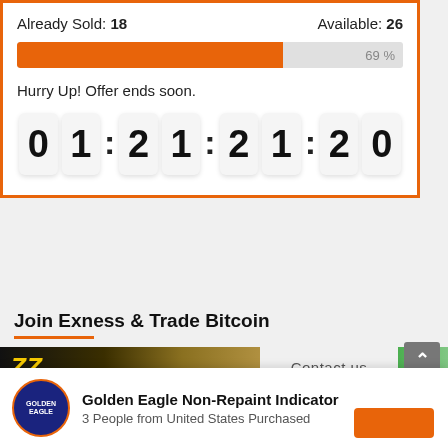Already Sold: 18    Available: 26
[Figure (other): Orange progress bar showing 69% completion]
Hurry Up! Offer ends soon.
0 1 : 2 1 : 2 1 : 2 0
Join Exness & Trade Bitcoin
[Figure (screenshot): Banner with ZZ logo and Contact us text]
Golden Eagle Non-Repaint Indicator
3 People from United States Purchased